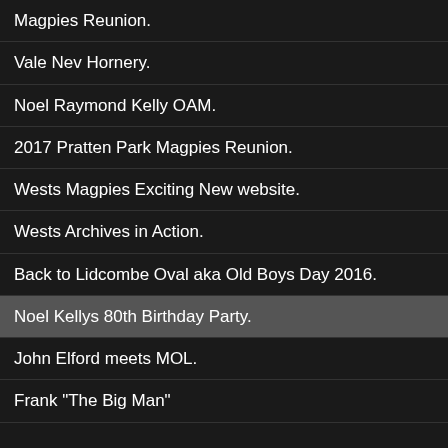Magpies Reunion.
Vale Nev Hornery.
Noel Raymond Kelly OAM.
2017 Pratten Park Magpies Reunion.
Wests Magpies Exciting New website.
Wests Archives in Action.
Back to Lidcombe Oval aka Old Boys Day 2016.
Noel Kellys 80th Birthday Party.
John Elford meets MOL.
Frank "The Big Man"
[Figure (infographic): Birthday party invitation card. Text reads: You and your partner are invited to CELEBRATE Noel's 80th Birthday. Where: Long Reef Golf Club Saturday 23rd January from 7pm (no presents). Price: $50 per person pay at the door. Dress: Smart Casual. RSVP by January 11th. Please indicate number attending. Chris Kelly]
The ho
[Figure (photo): Black and white photograph of a person]